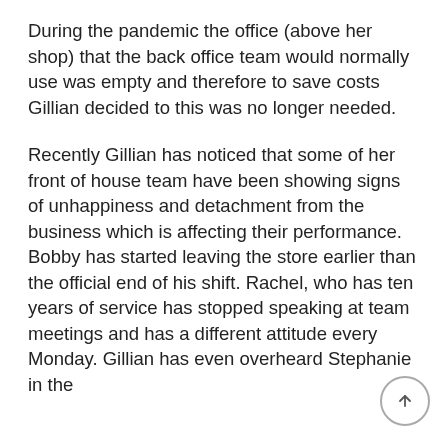During the pandemic the office (above her shop) that the back office team would normally use was empty and therefore to save costs Gillian decided to this was no longer needed.
Recently Gillian has noticed that some of her front of house team have been showing signs of unhappiness and detachment from the business which is affecting their performance. Bobby has started leaving the store earlier than the official end of his shift. Rachel, who has ten years of service has stopped speaking at team meetings and has a different attitude every Monday. Gillian has even overheard Stephanie in the